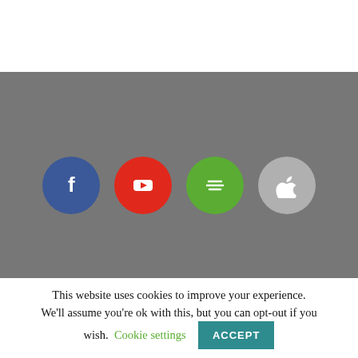[Figure (illustration): Gray banner section with four circular social/platform icons: Facebook (blue, f), YouTube (red, play button), Spotify (green, musical notes), Apple (gray, apple logo)]
This website uses cookies to improve your experience. We'll assume you're ok with this, but you can opt-out if you wish. Cookie settings ACCEPT